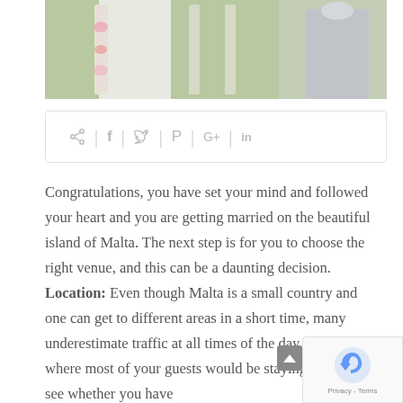[Figure (photo): Partial photo showing a wedding or event outdoor setup with greenery and white decorations, person in grey shirt visible on the right side.]
[Figure (infographic): Social sharing bar with icons: share, Facebook (f), Twitter (bird), Pinterest (P), Google+ (G+), LinkedIn (in), separated by vertical dividers.]
Congratulations, you have set your mind and followed your heart and you are getting married on the beautiful island of Malta. The next step is for you to choose the right venue, and this can be a daunting decision.
Location:  Even though Malta is a small country and one can get to different areas in a short time, many underestimate traffic at all times of the day. Consider where most of your guests would be staying and also see whether you have